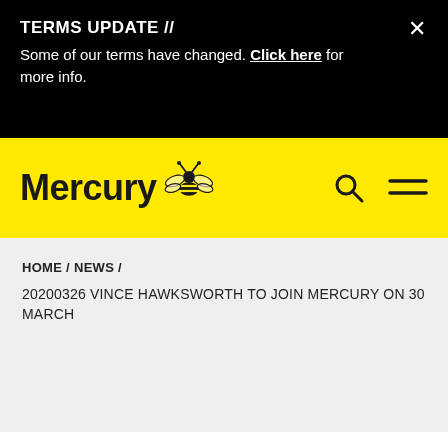TERMS UPDATE //
Some of our terms have changed. Click here for more info.
[Figure (logo): Mercury logo with bee icon on yellow navigation bar, search icon and hamburger menu icon on right]
HOME / NEWS /
20200326 VINCE HAWKSWORTH TO JOIN MERCURY ON 30 MARCH